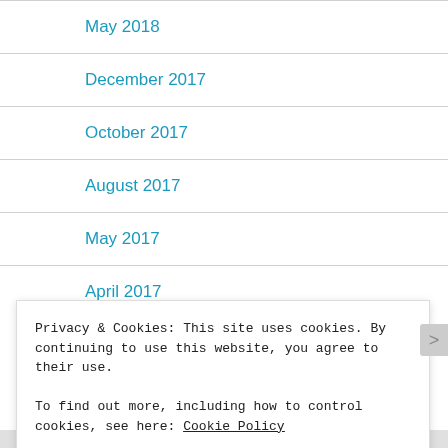May 2018
December 2017
October 2017
August 2017
May 2017
April 2017
Privacy & Cookies: This site uses cookies. By continuing to use this website, you agree to their use.
To find out more, including how to control cookies, see here: Cookie Policy
Close and accept